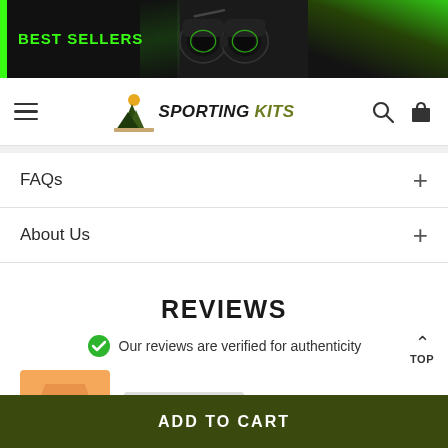[Figure (screenshot): Website banner with 'BEST SELLERS' text in green on dark background with binoculars image and green decorative elements]
SPORTING KITS — navigation bar with hamburger menu, logo, search and cart icons
FAQs +
About Us +
REVIEWS
Our reviews are verified for authenticity
[Figure (illustration): Partial view of a review card with orange avatar placeholder]
ADD TO CART